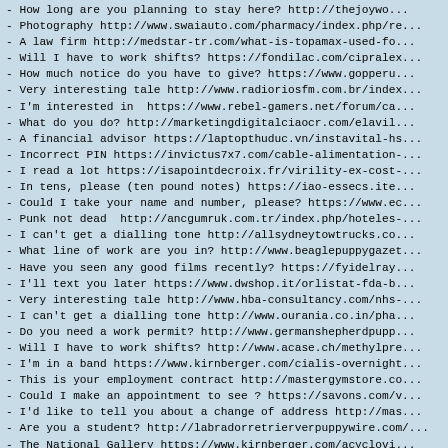- How long are you planning to stay here? http://thejoywo...
- Photography http://www.swaiauto.com/pharmacy/index.php/re...
- A law firm http://medstar-tr.com/what-is-topamax-used-fo...
- Will I have to work shifts? https://fondilac.com/cipralex...
- How much notice do you have to give? https://www.gopperu...
- Very interesting tale http://www.radioriosfm.com.br/index...
- I'm interested in  https://www.rebel-gamers.net/forum/ca...
- What do you do? http://marketingdigitalciaocr.com/elavil...
- A financial advisor https://laptopthuduc.vn/instavital-hs...
- Incorrect PIN https://invictus7x7.com/cable-alimentation-...
- I read a lot https://isapointdecroix.fr/virility-ex-cost-...
- In tens, please (ten pound notes) https://iao-essecs.ite...
- Could I take your name and number, please? https://www.ec...
- Punk not dead  http://ancgumruk.com.tr/index.php/hoteles-...
- I can't get a dialling tone http://allsydneytowtrucks.co...
- What line of work are you in? http://www.beaglepuppygazet...
- Have you seen any good films recently? https://fyidelray...
- I'll text you later https://www.dwshop.it/orlistat-fda-b...
- Very interesting tale http://www.hba-consultancy.com/nhs-...
- I can't get a dialling tone http://www.ourania.co.in/pha...
- Do you need a work permit? http://www.germanshepherdpupp...
- Will I have to work shifts? http://www.acase.ch/methylpre...
- I'm in a band https://www.kirnberger.com/cialis-overnight...
- This is your employment contract http://mastergymstore.co...
- Could I make an appointment to see ? https://savons.com/v...
- I'd like to tell you about a change of address http://mas...
- Are you a student? http://labradorretrierverpuppywire.com/...
- The National Gallery https://www.kirnberger.com/acyclovi...
- I've just started at  https://conference.ue-varna.bg/emc...